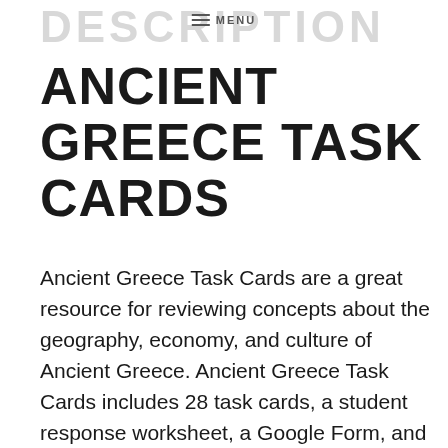DESCRIPTION  ≡ MENU
ANCIENT GREECE TASK CARDS
Ancient Greece Task Cards are a great resource for reviewing concepts about the geography, economy, and culture of Ancient Greece. Ancient Greece Task Cards includes 28 task cards, a student response worksheet, a Google Form, and an answer key. Questions are open-ended, multiple-choice, multiple selection, and fill in the blank. Makes a great social studies center, SCOOT activity, or review